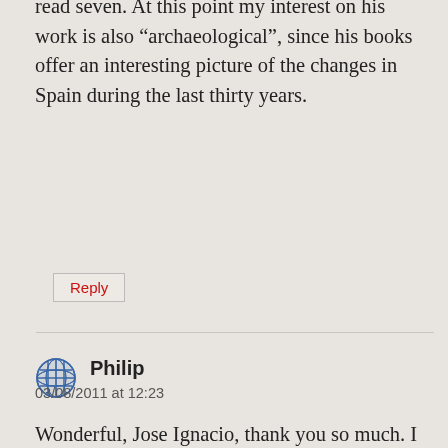read seven. At this point my interest on his work is also “archaeological”, since his books offer an interesting picture of the changes in Spain during the last thirty years.
Reply
Philip
03/08/2011 at 12:23
Wonderful, Jose Ignacio, thank you so much. I shall look forward to that post. Your last sentence is interesting — you have the instincts of an historian. I never did it myself, for in my special fields there is nothing